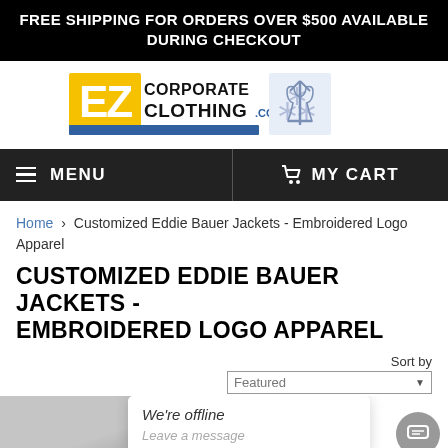FREE SHIPPING FOR ORDERS OVER $500 AVAILABLE DURING CHECKOUT
[Figure (logo): EZ Corporate Clothing logo with yellow/blue rectangles and Ukrainian trident crest]
MENU   MY CART
Home › Customized Eddie Bauer Jackets - Embroidered Logo Apparel
CUSTOMIZED EDDIE BAUER JACKETS - EMBROIDERED LOGO APPAREL
Sort by Featured
[Figure (photo): Partial product image of Eddie Bauer jacket, bottom of page]
We're offline
Leave a message